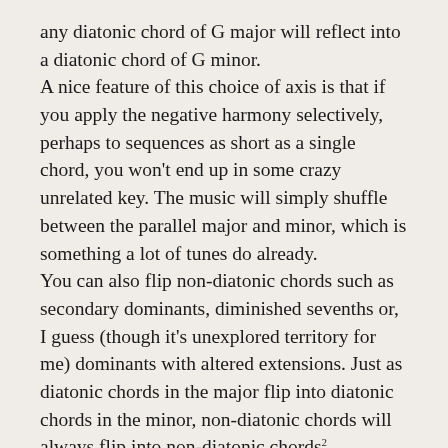any diatonic chord of G major will reflect into a diatonic chord of G minor.
A nice feature of this choice of axis is that if you apply the negative harmony selectively, perhaps to sequences as short as a single chord, you won't end up in some crazy unrelated key. The music will simply shuffle between the parallel major and minor, which is something a lot of tunes do already.
You can also flip non-diatonic chords such as secondary dominants, diminished sevenths or, I guess (though it's unexplored territory for me) dominants with altered extensions. Just as diatonic chords in the major flip into diatonic chords in the minor, non-diatonic chords will always flip into non-diatonic chords².